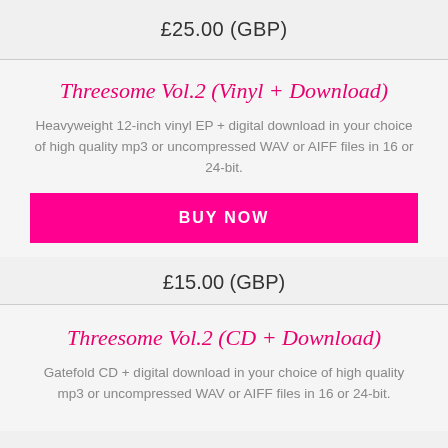£25.00 (GBP)
Threesome Vol.2 (Vinyl + Download)
Heavyweight 12-inch vinyl EP + digital download in your choice of high quality mp3 or uncompressed WAV or AIFF files in 16 or 24-bit.
BUY NOW
£15.00 (GBP)
Threesome Vol.2 (CD + Download)
Gatefold CD + digital download in your choice of high quality mp3 or uncompressed WAV or AIFF files in 16 or 24-bit.